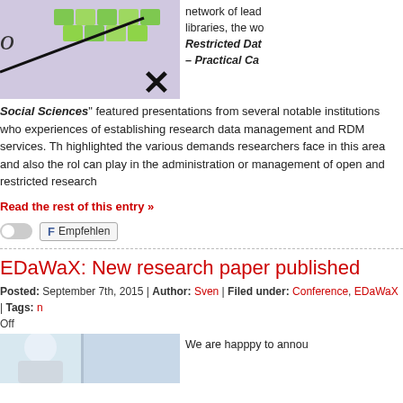[Figure (photo): Photo showing green blocks/cubes on a purple/lavender background with a large X mark drawn in black marker]
network of lead libraries, the wo Restricted Dat – Practical Ca
Social Sciences" featured presentations from several notable institutions who experiences of establishing research data management and RDM services. Th highlighted the various demands researchers face in this area and also the rol can play in the administration or management of open and restricted research
Read the rest of this entry »
[Figure (other): Social sharing buttons: toggle switch and Empfehlen (recommend) button]
EDaWaX: New research paper published
Posted: September 7th, 2015 | Author: Sven | Filed under: Conference, EDaWaX | Tags: Off
[Figure (photo): Partial photo showing a person in light blue/white clothing on the left side]